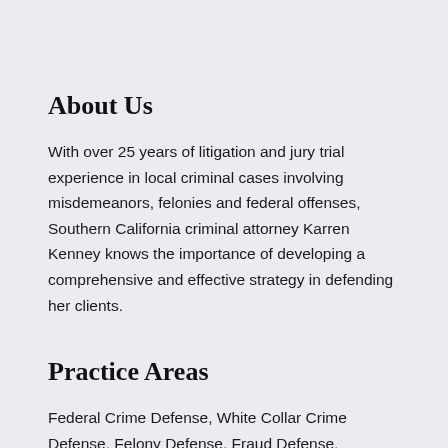About Us
With over 25 years of litigation and jury trial experience in local criminal cases involving misdemeanors, felonies and federal offenses, Southern California criminal attorney Karren Kenney knows the importance of developing a comprehensive and effective strategy in defending her clients.
Practice Areas
Federal Crime Defense, White Collar Crime Defense, Felony Defense, Fraud Defense, Misdemeanor Defense, Arson, Assault and Battery, Burglary, Carjacking, Conspiracy Charges, Criminal Appeals, Drug Counseling, Crime Def...